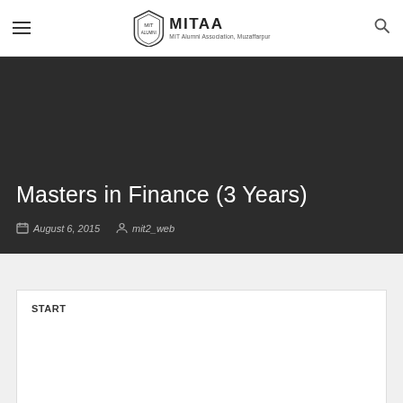MITAA — MIT Alumni Association, Muzaffarpur
Masters in Finance (3 Years)
August 6, 2015  mit2_web
START